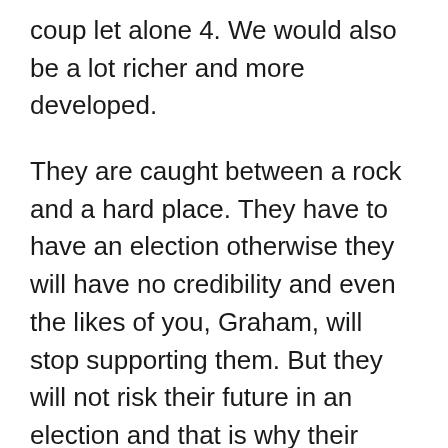coup let alone 4. We would also be a lot richer and more developed.
They are caught between a rock and a hard place. They have to have an election otherwise they will have no credibility and even the likes of you, Graham, will stop supporting them. But they will not risk their future in an election and that is why their commander will be made President before any election takes place. Only by keeping control can they be sure a cell at Naboro does not await them.
Good for Mick keeping the pressure on the military. Let's see how they like it after putting the boot in on the people of Fiji for the past 6 years.